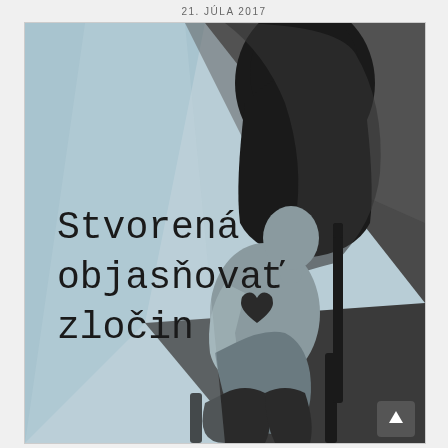21. JÚLA 2017
[Figure (illustration): Book cover illustration: a stylized grayscale figure of a seated person on a chair with a hooded dark silhouette looming behind them. The background features geometric planes of light blue-gray and dark charcoal. Text on the cover reads 'Stvorená objasňovať zločin' in a dark serif/monospace-style font. The seated figure has a heart tattoo on their chest area.]